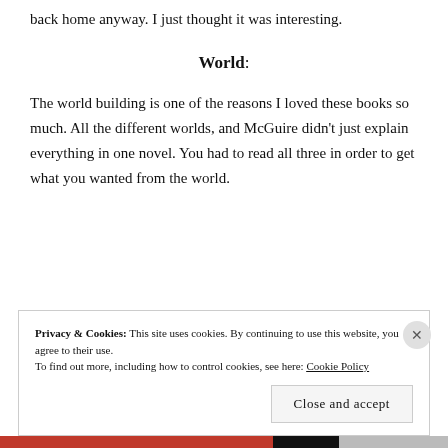back home anyway. I just thought it was interesting.
World:
The world building is one of the reasons I loved these books so much. All the different worlds, and McGuire didn't just explain everything in one novel. You had to read all three in order to get what you wanted from the world.
Privacy & Cookies: This site uses cookies. By continuing to use this website, you agree to their use.
To find out more, including how to control cookies, see here: Cookie Policy
Close and accept